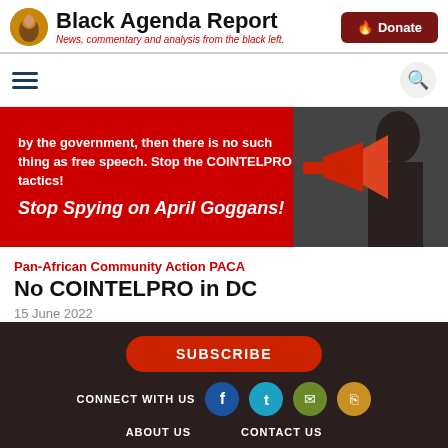Black Agenda Report — News, commentary and analysis from the black left.
[Figure (illustration): Logo circle with portrait image for Black Agenda Report]
[Figure (photo): Red banner image showing protest with megaphone, text: 'by the government, then there is no such thing as free speech. Stop the COINTELPRO tactics! Stop Spying on April Goggans!']
Pan-African Community Action PACA
No COINTELPRO in DC
15 June 2022
April Goggans is an organizer with Black Lives Matter in Washington, DC.
SUBSCRIBE | CONNECT WITH US | ABOUT US | CONTACT US